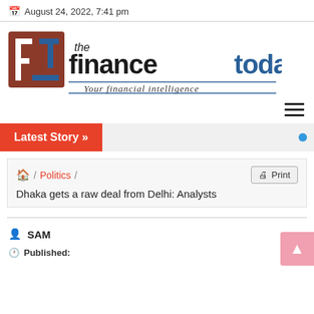August 24, 2022, 7:41 pm
[Figure (logo): The Finance Today logo with tagline 'Your financial intelligence']
[Figure (other): Hamburger menu icon (three horizontal lines)]
Latest Story »
Home / Politics / Dhaka gets a raw deal from Delhi: Analysts
Dhaka gets a raw deal from Delhi: Analysts
SAM
Published: